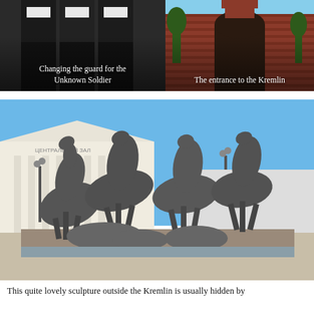[Figure (photo): Changing of the guard ceremony for the Unknown Soldier, showing people in dark uniforms]
Changing the guard for the Unknown Soldier
[Figure (photo): Entrance to the Kremlin showing red brick walls and archway with trees]
The entrance to the Kremlin
[Figure (photo): Bronze sculpture of four rearing horses outside the Kremlin, with a classical white building in the background and blue sky]
This quite lovely sculpture outside the Kremlin is usually hidden by